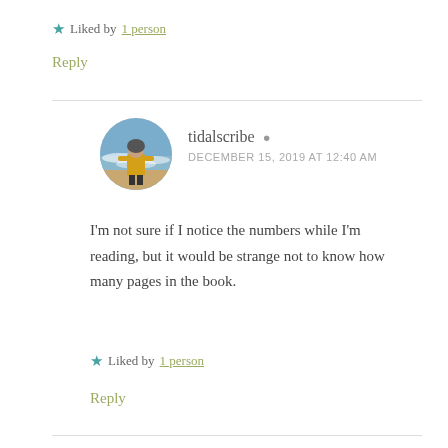★ Liked by 1 person
Reply
[Figure (photo): Circular avatar photo of a person wearing a yellow jacket standing on a beach with waves in the background]
tidalscribe
DECEMBER 15, 2019 AT 12:40 AM
I'm not sure if I notice the numbers while I'm reading, but it would be strange not to know how many pages in the book.
★ Liked by 1 person
Reply